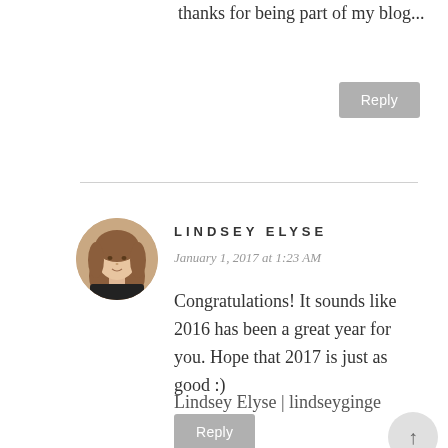thanks for being part of my blog...
Reply
LINDSEY ELYSE
January 1, 2017 at 1:23 AM
[Figure (photo): Circular avatar photo of a woman with long hair]
Congratulations! It sounds like 2016 has been a great year for you. Hope that 2017 is just as good :)
Lindsey Elyse | lindseyginge
Reply